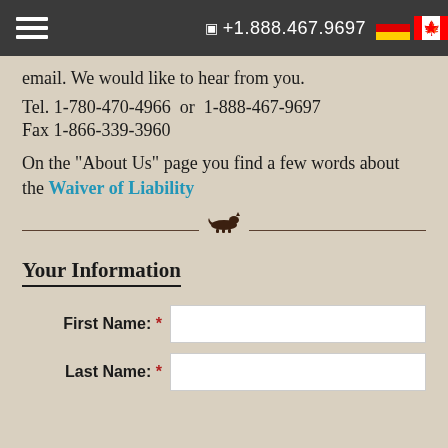☎ +1.888.467.9697
email. We would like to hear from you.
Tel. 1-780-470-4966  or  1-888-467-9697
Fax 1-866-339-3960
On the "About Us" page you find a few words about the Waiver of Liability
[Figure (illustration): Decorative horizontal divider with a wolf/fox silhouette in the center]
Your Information
First Name: *
Last Name: *